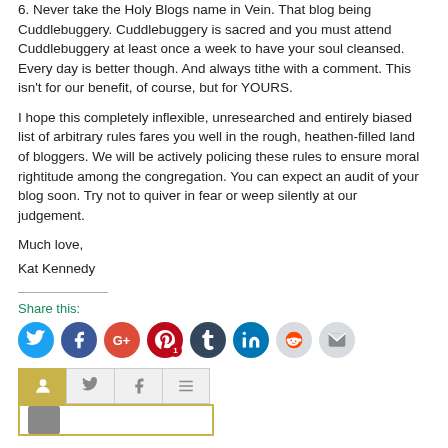6. Never take the Holy Blogs name in Vein.  That blog being Cuddlebuggery.  Cuddlebuggery is sacred and you must attend Cuddlebuggery at least once a week to have your soul cleansed.  Every day is better though.  And always tithe with a comment. This isn't for our benefit, of course, but for YOURS.
I hope this completely inflexible, unresearched and entirely biased list of arbitrary rules fares you well in the rough, heathen-filled land of bloggers.  We will be actively policing these rules to ensure moral rightitude among the congregation.  You can expect an audit of your blog soon.  Try not to quiver in fear or weep silently at our judgement.
Much love,
Kat Kennedy
Share this:
[Figure (infographic): Social media share buttons: Twitter (blue), Facebook (dark blue), Google+ (red-orange), Pinterest (red with badge 1), Tumblr (dark navy), LinkedIn (blue), Reddit (light gray), Email (light gray)]
[Figure (infographic): Bottom tab bar with user icon (active, olive/yellow-green tab), Twitter icon tab, Facebook icon tab, and menu/list icon tab, followed by a comment input box with avatar]